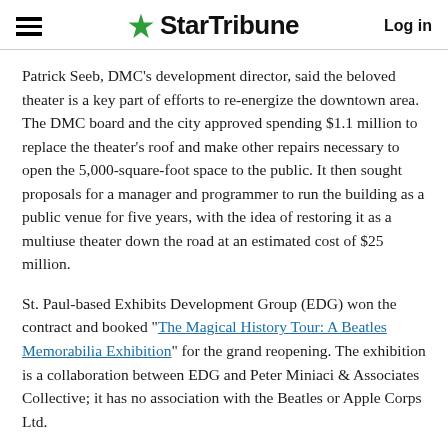StarTribune | Log in
Patrick Seeb, DMC's development director, said the beloved theater is a key part of efforts to re-energize the downtown area. The DMC board and the city approved spending $1.1 million to replace the theater's roof and make other repairs necessary to open the 5,000-square-foot space to the public. It then sought proposals for a manager and programmer to run the building as a public venue for five years, with the idea of restoring it as a multiuse theater down the road at an estimated cost of $25 million.
St. Paul-based Exhibits Development Group (EDG) won the contract and booked "The Magical History Tour: A Beatles Memorabilia Exhibition" for the grand reopening. The exhibition is a collaboration between EDG and Peter Miniaci & Associates Collective; it has no association with the Beatles or Apple Corps Ltd.